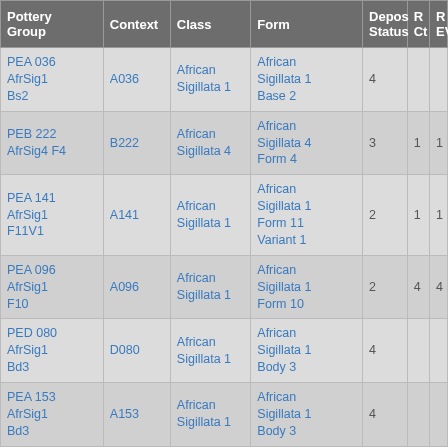| Pottery Group | Context | Class | Form | Depos Status | R Ct | R EVR |
| --- | --- | --- | --- | --- | --- | --- |
| PEA 036 AfrSig1 Bs2 | A036 | African Sigillata 1 | African Sigillata 1 Base 2 | 4 |  |  |
| PEB 222 AfrSig4 F4 | B222 | African Sigillata 4 | African Sigillata 4 Form 4 | 3 | 1 | 1 |
| PEA 141 AfrSig1 F11V1 | A141 | African Sigillata 1 | African Sigillata 1 Form 11 Variant 1 | 2 | 1 | 1 |
| PEA 096 AfrSig1 F10 | A096 | African Sigillata 1 | African Sigillata 1 Form 10 | 2 | 4 | 4 |
| PED 080 AfrSig1 Bd3 | D080 | African Sigillata 1 | African Sigillata 1 Body 3 | 4 |  |  |
| PEA 153 AfrSig1 Bd3 | A153 | African Sigillata 1 | African Sigillata 1 Body 3 | 4 |  |  |